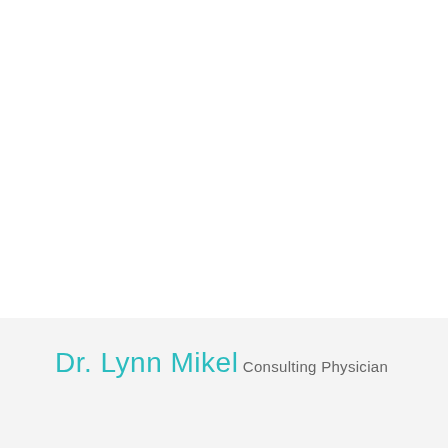Dr. Lynn Mikel
Consulting Physician